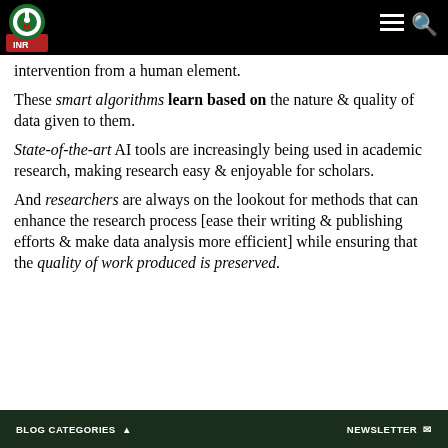INR logo and navigation header
intervention from a human element.
These smart algorithms learn based on the nature & quality of data given to them.
State-of-the-art AI tools are increasingly being used in academic research, making research easy & enjoyable for scholars.
And researchers are always on the lookout for methods that can enhance the research process [ease their writing & publishing efforts & make data analysis more efficient] while ensuring that the quality of work produced is preserved.
BLOG CATEGORIES   NEWSLETTER